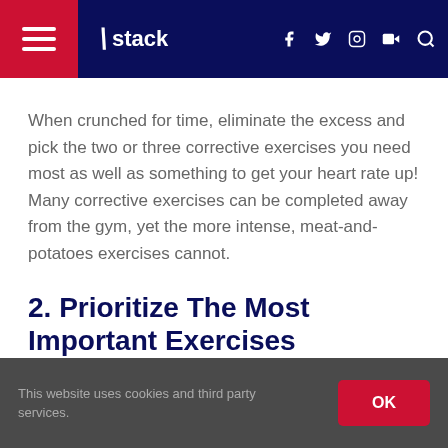stack
When crunched for time, eliminate the excess and pick the two or three corrective exercises you need most as well as something to get your heart rate up! Many corrective exercises can be completed away from the gym, yet the more intense, meat-and-potatoes exercises cannot.
2. Prioritize The Most Important Exercises
This website uses cookies and third party services.